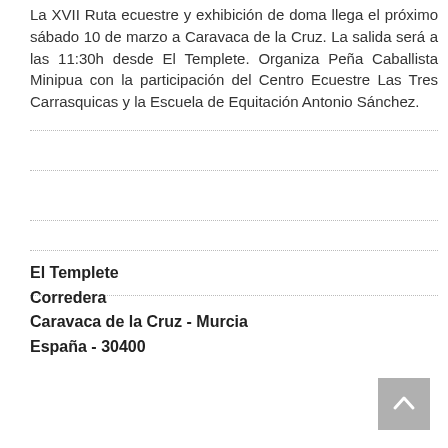La XVII Ruta ecuestre y exhibición de doma llega el próximo sábado 10 de marzo a Caravaca de la Cruz. La salida será a las 11:30h desde El Templete. Organiza Peña Caballista Minipua con la participación del Centro Ecuestre Las Tres Carrasquicas y la Escuela de Equitación Antonio Sánchez.
El Templete
Corredera
Caravaca de la Cruz - Murcia
España - 30400